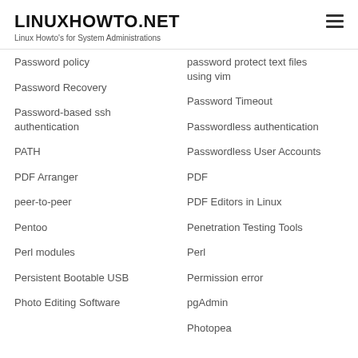LINUXHOWTO.NET
Linux Howto's for System Administrations
Password policy
password protect text files using vim
Password Recovery
Password Timeout
Password-based ssh authentication
Passwordless authentication
Passwordless User Accounts
PATH
PDF
PDF Arranger
PDF Editors in Linux
peer-to-peer
Penetration Testing Tools
Pentoo
Perl
Perl modules
Permission error
Persistent Bootable USB
pgAdmin
Photo Editing Software
Photopea